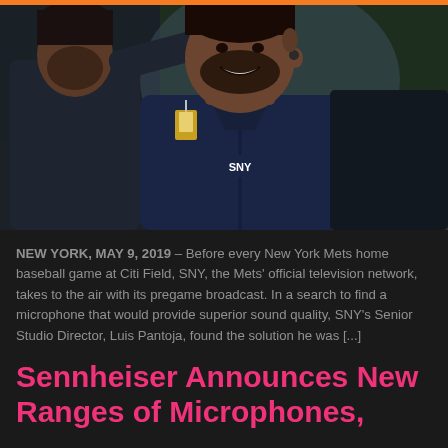[Figure (photo): Photo of an SNY broadcaster smiling while a technician fits an earpiece into his ear. The broadcaster is wearing a navy blue SNY branded jacket. They are at a baseball stadium (Citi Field) with a green field visible in the background. An orange bar runs across the top of the image.]
NEW YORK, MAY 9, 2019 – Before every New York Mets home baseball game at Citi Field, SNY, the Mets' official television network, takes to the air with its pregame broadcast. In a search to find a microphone that would provide superior sound quality, SNY's Senior Studio Director, Luis Pantoja, found the solution he was [...]
Sennheiser Announces New Ranges of Microphones, Headphones and Headsets